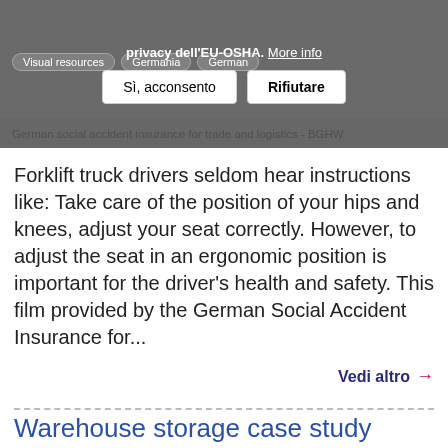privacy dell'EU-OSHA. More info
Si, acconsento   Rifiutare
German social accident insurance for trade and logistics - BGHW
Forklift truck drivers seldom hear instructions like: Take care of the position of your hips and knees, adjust your seat correctly. However, to adjust the seat in an ergonomic position is important for the driver's health and safety. This film provided by the German Social Accident Insurance for...
Vedi altro →
Warehouse storage case study video
Visual resources   Case study   Irlanda   English
Health and safety autority
This video of a risk assessment case study shows a